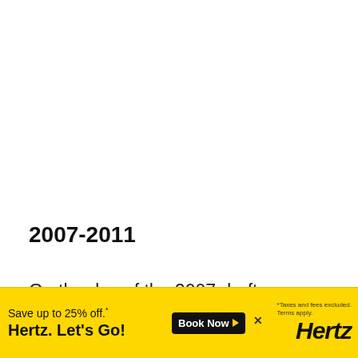2007-2011
On the day of the 2007 draft, Thomas went fishing on Lake Michigan instead of joining other
[Figure (other): Advertisement banner for Hertz car rental. Yellow background with text 'Save up to 25% off.* Hertz. Let's Go!' on the left, 'Book Now' button with arrow in black on the right, and Hertz logo in italic bold black text. Small text reads '*Taxes and fees excluded. Terms apply.']